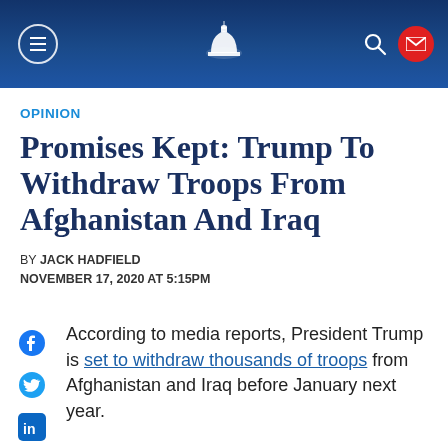Promises Kept: Trump To Withdraw Troops From Afghanistan And Iraq — Capital Research Center
OPINION
Promises Kept: Trump To Withdraw Troops From Afghanistan And Iraq
BY JACK HADFIELD
NOVEMBER 17, 2020 AT 5:15PM
According to media reports, President Trump is set to withdraw thousands of troops from Afghanistan and Iraq before January next year.